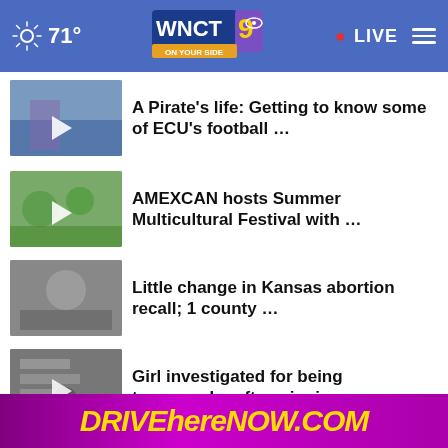WNCT 9 ON YOUR SIDE — 71° — LIVE
A Pirate's life: Getting to know some of ECU's football …
AMEXCAN hosts Summer Multicultural Festival with …
Little change in Kansas abortion recall; 1 county …
Girl investigated for being transgender after winning …
More Stories ▶
[Figure (screenshot): DRIVEhereNOW.COM advertisement banner with yellow text on purple background, with tagline 'to elevate the state of']